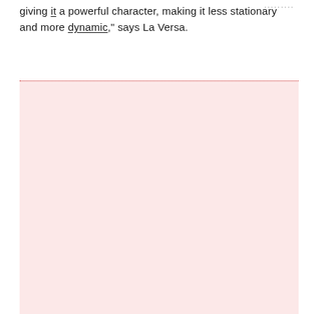giving it a powerful character, making it less stationary and more dynamic," says La Versa.
[Figure (other): Large pink/light-red rectangular area below a dotted red top border, appearing to be a placeholder image or decorative block filling most of the lower portion of the page.]